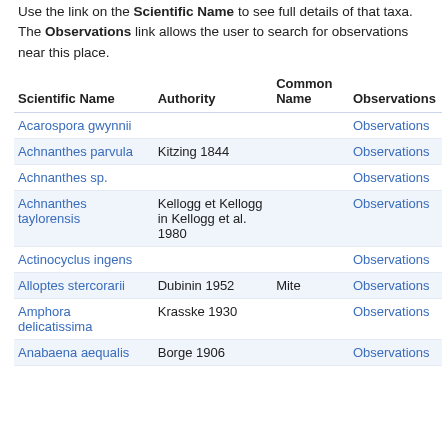Use the link on the Scientific Name to see full details of that taxa. The Observations link allows the user to search for observations near this place.
| Scientific Name | Authority | Common Name | Observations |
| --- | --- | --- | --- |
| Acarospora gwynnii |  |  | Observations |
| Achnanthes parvula | Kitzing 1844 |  | Observations |
| Achnanthes sp. |  |  | Observations |
| Achnanthes taylorensis | Kellogg et Kellogg in Kellogg et al. 1980 |  | Observations |
| Actinocyclus ingens |  |  | Observations |
| Alloptes stercorarii | Dubinin 1952 | Mite | Observations |
| Amphora delicatissima | Krasske 1930 |  | Observations |
| Anabaena aequalis | Borge 1906 |  | Observations |